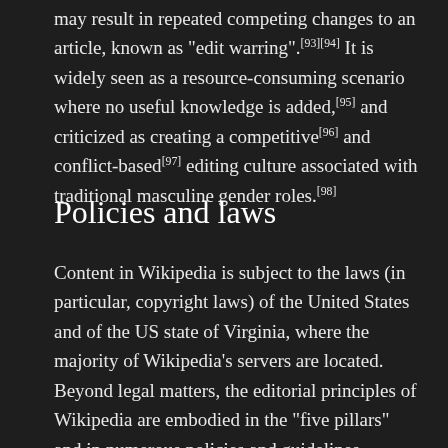may result in repeated competing changes to an article, known as "edit warring".[93][94] It is widely seen as a resource-consuming scenario where no useful knowledge is added,[95] and criticized as creating a competitive[96] and conflict-based[97] editing culture associated with traditional masculine gender roles.[98]
Policies and laws
Content in Wikipedia is subject to the laws (in particular, copyright laws) of the United States and of the US state of Virginia, where the majority of Wikipedia's servers are located. Beyond legal matters, the editorial principles of Wikipedia are embodied in the "five pillars" and in numerous policies and guidelines intended to appropriately shape content. Even these rules are stored in wiki form, and Wikipedia editors write and revise the